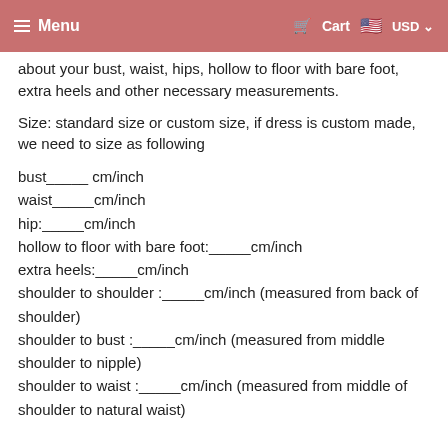Menu   Cart   USD
about your bust, waist, hips, hollow to floor with bare foot, extra heels and other necessary measurements.
Size: standard size or custom size, if dress is custom made, we need to size as following
bust_____ cm/inch
waist_____cm/inch
hip:_____cm/inch
hollow to floor with bare foot:_____cm/inch
extra heels:_____cm/inch
shoulder to shoulder :_____cm/inch (measured from back of shoulder)
shoulder to bust :_____cm/inch (measured from middle shoulder to nipple)
shoulder to waist :_____cm/inch (measured from middle of shoulder to natural waist)